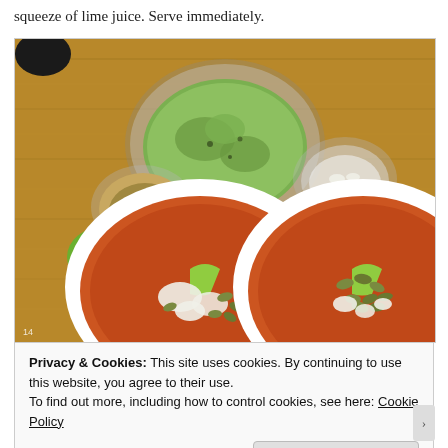squeeze of lime juice. Serve immediately.
[Figure (photo): Two white bowls of soup topped with pumpkin seeds, white cheese crumbles, and lime wedges, arranged on a wooden cutting board alongside small glass bowls of pumpkin seeds, guacamole, and crumbled cheese, with a lime half visible on the left.]
Privacy & Cookies: This site uses cookies. By continuing to use this website, you agree to their use.
To find out more, including how to control cookies, see here: Cookie Policy
Close and accept